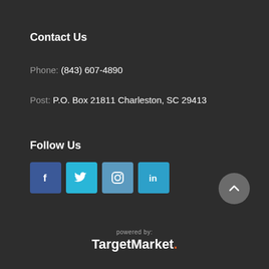Contact Us
Phone: (843) 607-4890
Post: P.O. Box 21811 Charleston, SC 29413
Follow Us
[Figure (other): Social media icons: Facebook, Twitter, Instagram, LinkedIn]
[Figure (other): Scroll-to-top arrow button]
powered by: TargetMarket.